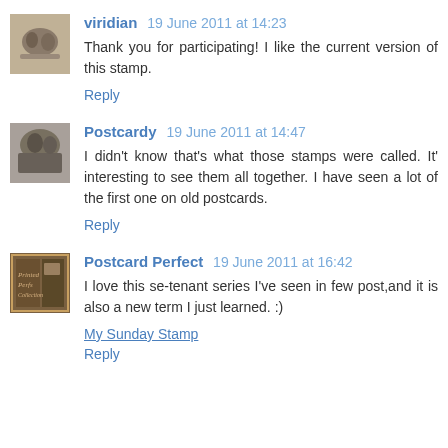viridian 19 June 2011 at 14:23
Thank you for participating! I like the current version of this stamp.
Reply
Postcardy 19 June 2011 at 14:47
I didn't know that's what those stamps were called. It's interesting to see them all together. I have seen a lot of the first one on old postcards.
Reply
Postcard Perfect 19 June 2011 at 16:42
I love this se-tenant series I've seen in few post,and it is also a new term I just learned. :)
My Sunday Stamp
Reply